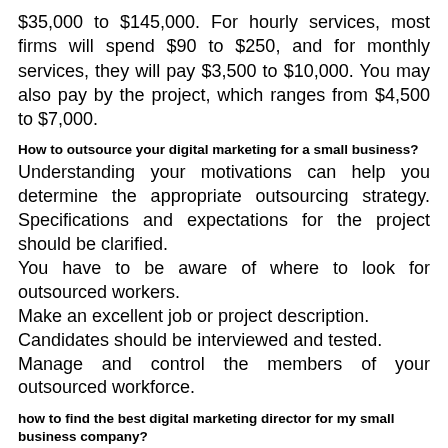$35,000 to $145,000. For hourly services, most firms will spend $90 to $250, and for monthly services, they will pay $3,500 to $10,000. You may also pay by the project, which ranges from $4,500 to $7,000.
How to outsource your digital marketing for a small business?
Understanding your motivations can help you determine the appropriate outsourcing strategy. Specifications and expectations for the project should be clarified. You have to be aware of where to look for outsourced workers. Make an excellent job or project description. Candidates should be interviewed and tested. Manage and control the members of your outsourced workforce.
how to find the best digital marketing director for my small business company?
Be aware of your aims
Check for a substantial portfolio and ask for a list of